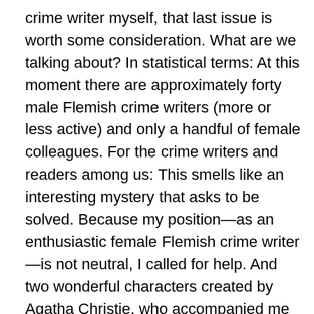crime writer myself, that last issue is worth some consideration. What are we talking about? In statistical terms: At this moment there are approximately forty male Flemish crime writers (more or less active) and only a handful of female colleagues. For the crime writers and readers among us: This smells like an interesting mystery that asks to be solved. Because my position—as an enthusiastic female Flemish crime writer—is not neutral, I called for help. And two wonderful characters created by Agatha Christie, who accompanied me during my teenage years, agreed to help solve this mystery. So I'm pleased to introduce the ingenious Hercule Poirot (a Belgian detective!) with his petites cellules grises* and the amazing Miss Marple.
We meet during teatime in a cosy pub in St. Mary Mead (England), and Hercule Poirot is using a white